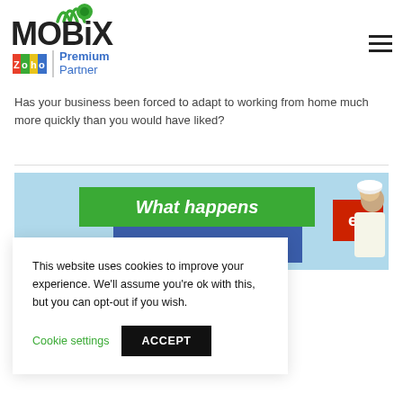[Figure (logo): MOBIX logo with Zoho Premium Partner branding]
Has your business been forced to adapt to working from home much more quickly than you would have liked?
[Figure (screenshot): Banner image showing 'What happens when your ...' with blue sky background and red question mark box, and a worker in hard hat]
This website uses cookies to improve your experience. We'll assume you're ok with this, but you can opt-out if you wish. Cookie settings | ACCEPT